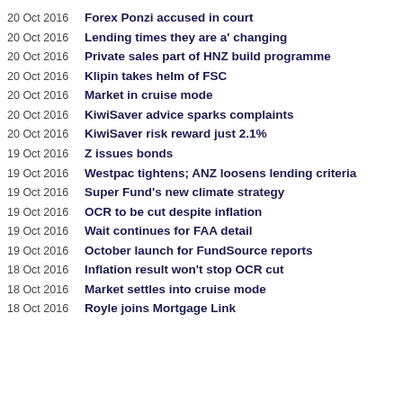20 Oct 2016 – Forex Ponzi accused in court
20 Oct 2016 – Lending times they are a' changing
20 Oct 2016 – Private sales part of HNZ build programme
20 Oct 2016 – Klipin takes helm of FSC
20 Oct 2016 – Market in cruise mode
20 Oct 2016 – KiwiSaver advice sparks complaints
20 Oct 2016 – KiwiSaver risk reward just 2.1%
19 Oct 2016 – Z issues bonds
19 Oct 2016 – Westpac tightens; ANZ loosens lending criteria
19 Oct 2016 – Super Fund's new climate strategy
19 Oct 2016 – OCR to be cut despite inflation
19 Oct 2016 – Wait continues for FAA detail
19 Oct 2016 – October launch for FundSource reports
18 Oct 2016 – Inflation result won't stop OCR cut
18 Oct 2016 – Market settles into cruise mode
18 Oct 2016 – Royle joins Mortgage Link